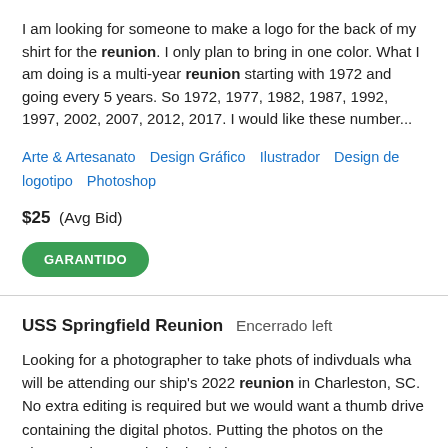I am looking for someone to make a logo for the back of my shirt for the reunion. I only plan to bring in one color. What I am doing is a multi-year reunion starting with 1972 and going every 5 years. So 1972, 1977, 1982, 1987, 1992, 1997, 2002, 2007, 2012, 2017. I would like these number...
Arte & Artesanato   Design Gráfico   Ilustrador   Design de logotipo   Photoshop
$25  (Avg Bid)
GARANTIDO
USS Springfield Reunion   Encerrado left
Looking for a photographer to take phots of indivduals wha will be attending our ship's 2022 reunion in Charleston, SC. No extra editing is required but we would want a thumb drive containing the digital photos. Putting the photos on the photographer's web site is ok, but we...